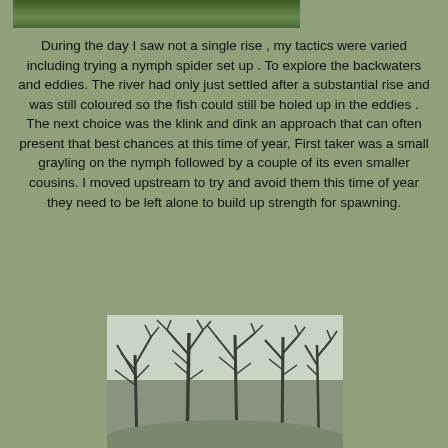[Figure (photo): Top partial photo showing green foliage and plants]
During the day I saw not a single rise , my tactics were varied including trying a nymph spider set up . To explore the backwaters and eddies.  The river had only just settled after a substantial rise and was still coloured so the fish could still be holed up in the eddies .  The next choice was the klink and dink an approach that can often present that best chances at this time of year,  First taker was a small grayling on the nymph followed by a couple of its even smaller cousins.  I moved upstream to try and avoid them this time of year they need to be left alone to build up strength for spawning.
[Figure (photo): Bottom photo showing bare winter trees against a light sky]